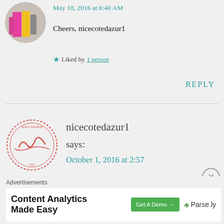[Figure (photo): Circular avatar photo showing colorful clothing items including pink and yellow garments]
May 18, 2016 at 8:40 AM
Cheers, nicecotedazur1
★ Liked by 1 person
REPLY
[Figure (illustration): Circular stamp/seal with signature inside, red dashed border]
nicecotedazur1
says:
October 1, 2016 at 2:57
Advertisements
[Figure (screenshot): Advertisement banner: Content Analytics Made Easy with Get A Demo button and Parse.ly logo]